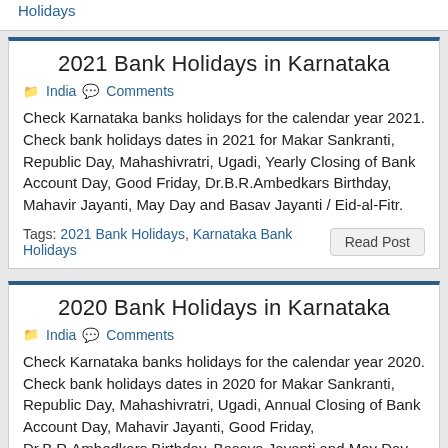Holidays
2021 Bank Holidays in Karnataka
India   Comments
Check Karnataka banks holidays for the calendar year 2021. Check bank holidays dates in 2021 for Makar Sankranti, Republic Day, Mahashivratri, Ugadi, Yearly Closing of Bank Account Day, Good Friday, Dr.B.R.Ambedkars Birthday, Mahavir Jayanti, May Day and Basav Jayanti / Eid-al-Fitr.
Tags: 2021 Bank Holidays, Karnataka Bank Holidays
2020 Bank Holidays in Karnataka
India   Comments
Check Karnataka banks holidays for the calendar year 2020. Check bank holidays dates in 2020 for Makar Sankranti, Republic Day, Mahashivratri, Ugadi, Annual Closing of Bank Account Day, Mahavir Jayanti, Good Friday, Dr.B.R.Ambedkars Birthday, Basava Jayanti and May Day.